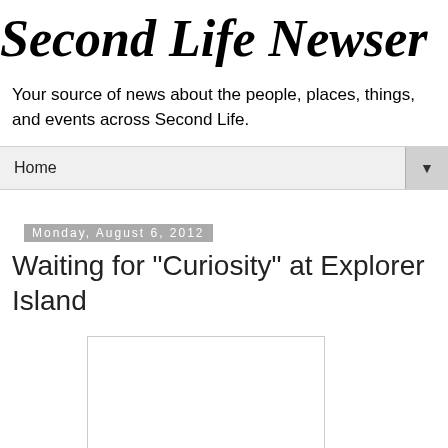Second Life Newser
Your source of news about the people, places, things, and events across Second Life.
Home
Monday, August 6, 2012
Waiting for "Curiosity" at Explorer Island
[Figure (photo): Empty white image placeholder rectangle]